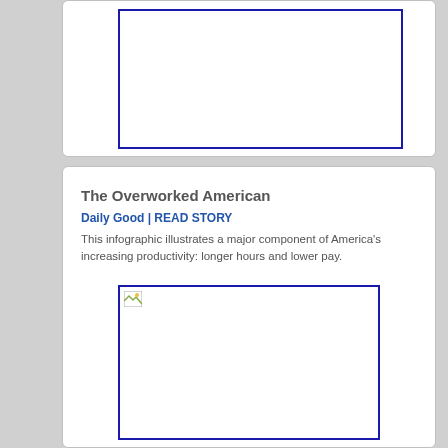[Figure (other): Empty image placeholder with blue border at top of page]
The Overworked American
Daily Good | READ STORY
This infographic illustrates a major component of America's increasing productivity: longer hours and lower pay.
[Figure (infographic): Image placeholder with blue border showing broken image icon, representing an infographic about overworked Americans]